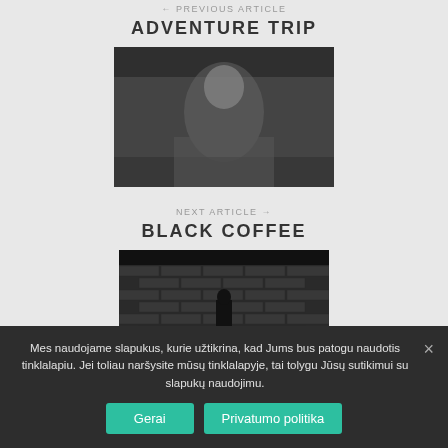← PREVIOUS ARTICLE
ADVENTURE TRIP
[Figure (photo): Black and white photo of a woman with long hair in a dark outdoor setting]
NEXT ARTICLE →
BLACK COFFEE
[Figure (photo): Dark image of a person standing against a brick wall]
Mes naudojame slapukus, kurie užtikrina, kad Jums bus patogu naudotis tinklalapiu. Jei toliau naršysite mūsų tinklalapyje, tai tolygu Jūsų sutikimui su slapukų naudojimu.
Gerai
Privatumo politika